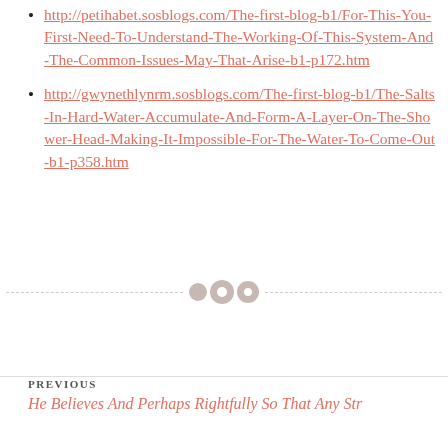http://petihabet.sosblogs.com/The-first-blog-b1/For-This-You-First-Need-To-Understand-The-Working-Of-This-System-And-The-Common-Issues-May-That-Arise-b1-p172.htm
http://gwynethlynrm.sosblogs.com/The-first-blog-b1/The-Salts-In-Hard-Water-Accumulate-And-Form-A-Layer-On-The-Shower-Head-Making-It-Impossible-For-The-Water-To-Come-Out-b1-p358.htm
[Figure (other): Decorative divider with three circles (dots) and dashed lines on either side]
PREVIOUS
He Believes And Perhaps Rightfully So That Any Str…